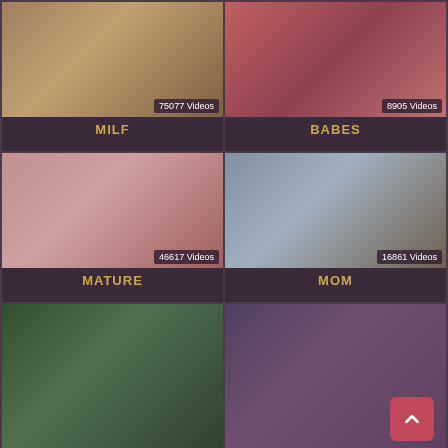[Figure (photo): Thumbnail photo for MILF category showing couple]
75077 Videos
MILF
[Figure (photo): Thumbnail photo for BABES category showing woman in red]
8905 Videos
BABES
[Figure (photo): Thumbnail photo for MATURE category showing two blonde women kissing]
46617 Videos
MATURE
[Figure (photo): Thumbnail photo for MOM category showing woman in kitchen]
16861 Videos
MOM
[Figure (photo): Thumbnail photo for Big category showing two women outdoors]
[Figure (photo): Thumbnail photo for Granny category showing couple]